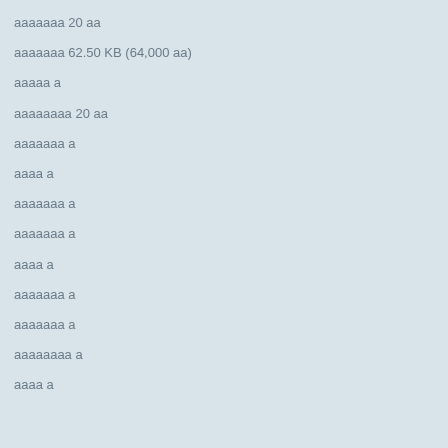ааааааа 20 аа
ааааааа 62.50 KB (64,000 аа)
ааааа а
аааааааа 20 аа
ааааааа а
аааа а
ааааааа а
ааааааа а
аааа а
ааааааа а
ааааааа а
аааааааа а
аааа а